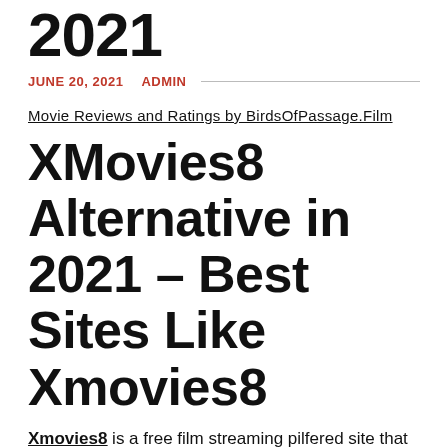2021
JUNE 20, 2021   ADMIN
Movie Reviews and Ratings by BirdsOfPassage.Film
XMovies8 Alternative in 2021 – Best Sites Like Xmovies8
Xmovies8 is a free film streaming pilfered site that boasts of having a broad assortment of movies. By